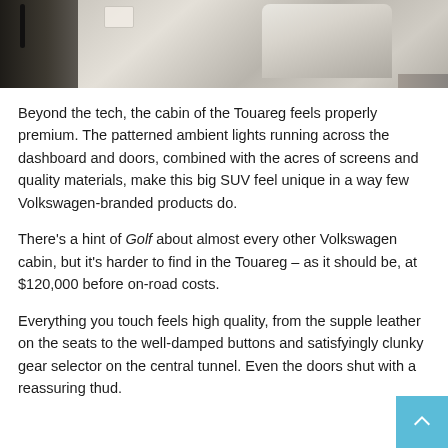[Figure (photo): Interior photo of a Volkswagen Touareg cabin showing leather seats and door area with ambient lighting]
Beyond the tech, the cabin of the Touareg feels properly premium. The patterned ambient lights running across the dashboard and doors, combined with the acres of screens and quality materials, make this big SUV feel unique in a way few Volkswagen-branded products do.
There's a hint of Golf about almost every other Volkswagen cabin, but it's harder to find in the Touareg – as it should be, at $120,000 before on-road costs.
Everything you touch feels high quality, from the supple leather on the seats to the well-damped buttons and satisfyingly clunky gear selector on the central tunnel. Even the doors shut with a reassuring thud.